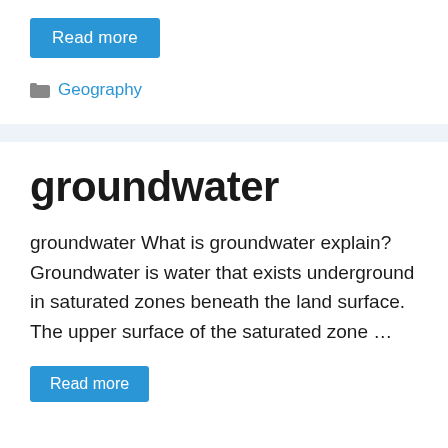Read more
Geography
groundwater
groundwater What is groundwater explain? Groundwater is water that exists underground in saturated zones beneath the land surface. The upper surface of the saturated zone …
Read more